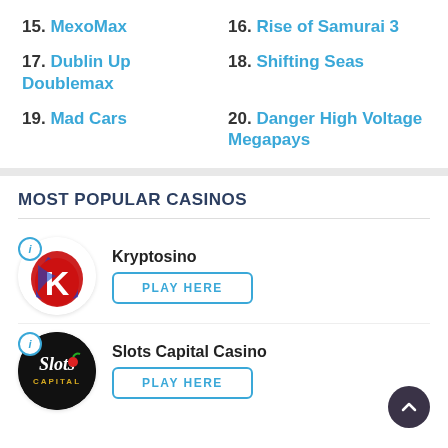15. MexoMax
16. Rise of Samurai 3
17. Dublin Up Doublemax
18. Shifting Seas
19. Mad Cars
20. Danger High Voltage Megapays
MOST POPULAR CASINOS
[Figure (logo): Kryptosino casino logo - red and blue K letter on white circle]
Kryptosino
PLAY HERE
[Figure (logo): Slots Capital Casino logo - white script Slots text on black circle with capital text below]
Slots Capital Casino
PLAY HERE